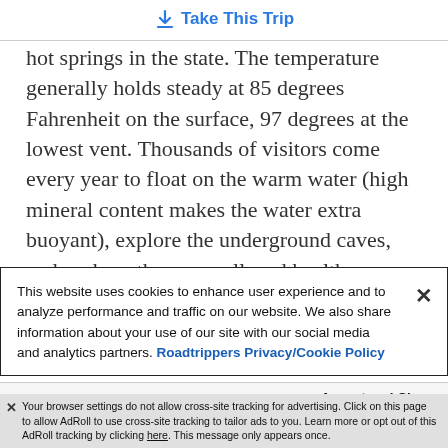Take This Trip
hot springs in the state. The temperature generally holds steady at 85 degrees Fahrenheit on the surface, 97 degrees at the lowest vent. Thousands of visitors come every year to float on the warm water (high mineral content makes the water extra buoyant), explore the underground caves, and soak up the many alleged health benefits. They’re following a long tradition, too. Humans have been visiting the spring for thousands of years.
This website uses cookies to enhance user experience and to analyze performance and traffic on our website. We also share information about your use of our site with our social media and analytics partners. Roadtrippers Privacy/Cookie Policy
Accept and Close
Your browser settings do not allow cross-site tracking for advertising. Click on this page to allow AdRoll to use cross-site tracking to tailor ads to you. Learn more or opt out of this AdRoll tracking by clicking here. This message only appears once.